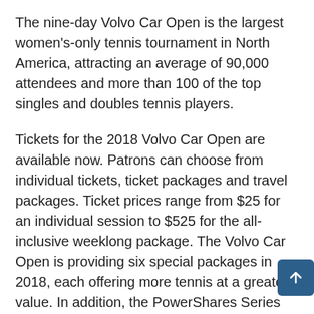The nine-day Volvo Car Open is the largest women's-only tennis tournament in North America, attracting an average of 90,000 attendees and more than 100 of the top singles and doubles tennis players.
Tickets for the 2018 Volvo Car Open are available now. Patrons can choose from individual tickets, ticket packages and travel packages. Ticket prices range from $25 for an individual session to $525 for the all-inclusive weeklong package. The Volvo Car Open is providing six special packages in 2018, each offering more tennis at a greater value. In addition, the PowerShares Series returns to the Volvo Car Stadium on April 7th. The men's legends event features Andy Roddick, Mark Philippoussis, Tommy Haas and one additional player to be announced at a later date.